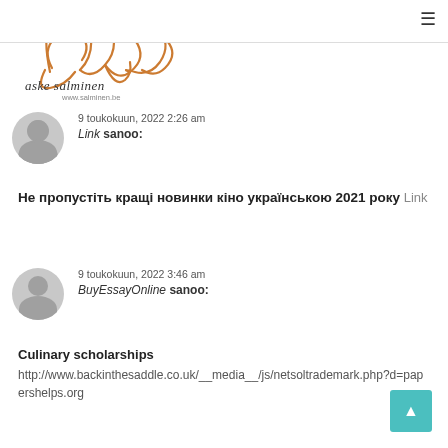aske salminen / www.salminen.be — hamburger menu
[Figure (logo): Handwritten/calligraphy logo reading 'aske salminen' with www.salminen.be URL]
9 toukokuun, 2022 2:26 am
Link sanoo:
Не пропустіть кращі новинки кіно українською 2021 року Link
9 toukokuun, 2022 3:46 am
BuyEssayOnline sanoo:
Culinary scholarships
http://www.backinthesaddle.co.uk/__media__/js/netsoltrademark.php?d=papershelps.org